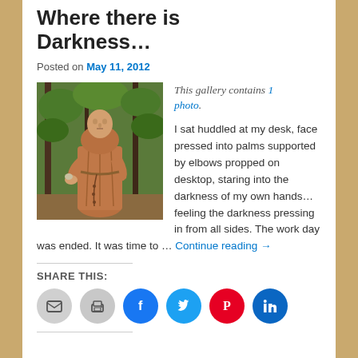Where there is Darkness…
Posted on May 11, 2012
[Figure (photo): Statue of a monk/friar holding a bird, standing outdoors among trees]
This gallery contains 1 photo.
I sat huddled at my desk, face pressed into palms supported by elbows propped on desktop, staring into the darkness of my own hands…feeling the darkness pressing in from all sides. The work day was ended. It was time to … Continue reading →
SHARE THIS:
Share icons: email, print, Facebook, Twitter, Pinterest, LinkedIn